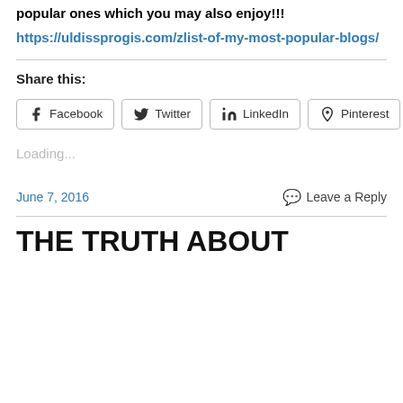popular ones which you may also enjoy!!!
https://uldissprogis.com/zlist-of-my-most-popular-blogs/
Share this:
Facebook  Twitter  LinkedIn  Pinterest  More
Loading...
June 7, 2016  Leave a Reply
THE TRUTH ABOUT